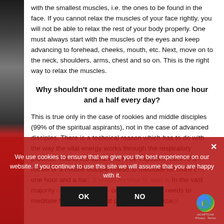with the smallest muscles, i.e. the ones to be found in the face. If you cannot relax the muscles of your face rightly, you will not be able to relax the rest of your body properly. One must always start with the muscles of the eyes and keep advancing to forehead, cheeks, mouth, etc. Next, move on to the neck, shoulders, arms, chest and so on. This is the right way to relax the muscles.
Why shouldn't one meditate more than one hour and a half every day?
This is true only in the case of rookies and middle disciples (99% of the spiritual aspirants), not in the case of advanced disciples. There is a technical reason which has to do with the way the vital energy works through the respiratory process. This is too advanced to be explained here. If a rookie or a middle disciple needs to meditate for more than one hour and a half, it would be wise to start with... In the vast majority of cases, a rookie or middle disciple needs to meditate for more than that period of time, except
We use cookies to ensure that we give you the best experience on our website. If you continue to use this site we will assume that you are happy with it.